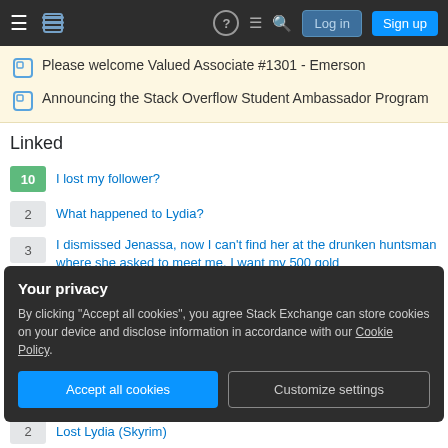Stack Exchange navigation bar with Log in and Sign up buttons
Please welcome Valued Associate #1301 - Emerson
Announcing the Stack Overflow Student Ambassador Program
Linked
10 - I lost my follower?
2 - What happened to Lydia?
3 - I dismissed Jenassa, now I can't find her at the drunken huntsman where she asked to meet me. I want my 500 gold
Your privacy
By clicking "Accept all cookies", you agree Stack Exchange can store cookies on your device and disclose information in accordance with our Cookie Policy.
2 - Lost Lydia (Skyrim)